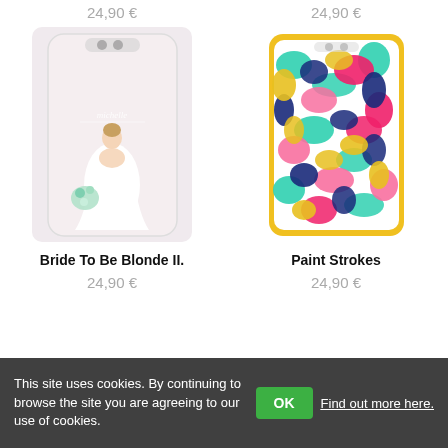24,90 €
24,90 €
[Figure (illustration): Transparent phone case with illustration of a blonde bride viewed from behind, wearing a white backless dress and holding a bouquet, with cursive text 'michelle' on the case]
[Figure (illustration): Hard phone case with colorful paint strokes pattern in pink, teal, navy, yellow, and white on a yellow-bordered case]
Bride To Be Blonde II.
Paint Strokes
24,90 €
24,90 €
This site uses cookies. By continuing to browse the site you are agreeing to our use of cookies.
OK
Find out more here.